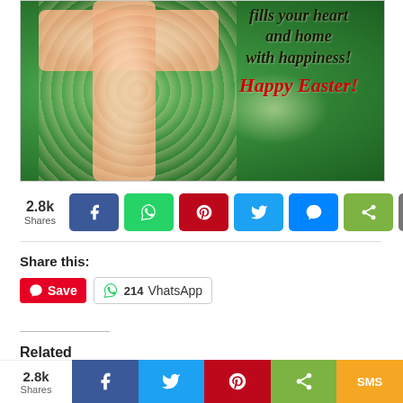[Figure (illustration): Easter greeting card image with a floral cross made of pink/cream flowers on a green background with spring buds. Text overlay reads 'fills your heart and home with happiness! Happy Easter!']
2.8k Shares
[Figure (infographic): Social share buttons row: Facebook (blue), WhatsApp (green), Pinterest (red), Twitter (blue), Messenger (blue), Share (green), Email (grey)]
Share this:
[Figure (infographic): Pinterest Save button (red) and WhatsApp share button with count 214]
Related
[Figure (photo): Related content thumbnail images strip]
[Figure (infographic): Bottom sticky share bar: 2.8k Shares, Facebook, Twitter, Pinterest, Share, SMS buttons]